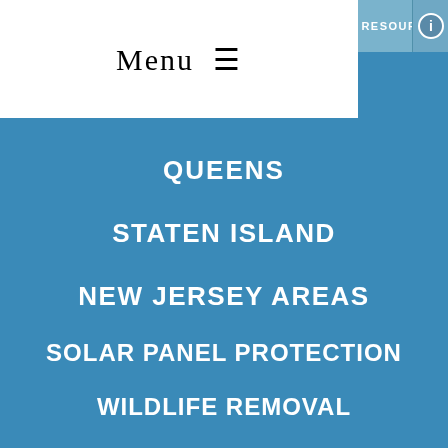Menu ≡
RESOURCES
AREAS
QUEENS
STATEN ISLAND
NEW JERSEY AREAS
SOLAR PANEL PROTECTION
WILDLIFE REMOVAL
REMOVE BIRDS FROM YOUR VENTS IN NYC & NJ